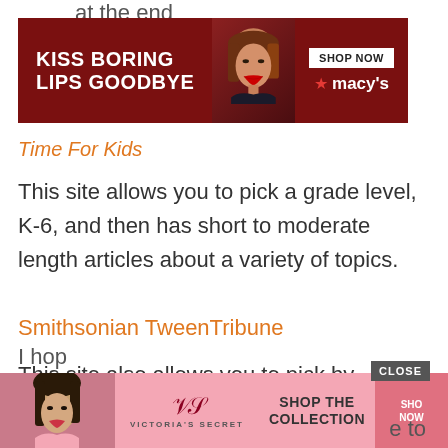at the end
[Figure (other): Macy's advertisement banner: 'KISS BORING LIPS GOODBYE' with a woman's face and red lips, SHOP NOW button, and Macy's star logo]
Time For Kids
This site allows you to pick a grade level, K-6, and then has short to moderate length articles about a variety of topics.
Smithsonian TweenTribune
This site also allows you to pick by grades, K-12, and then has moderate length articles about a variety of topics.
[Figure (other): Victoria's Secret advertisement: SHOP THE COLLECTION with SHOP NOW button]
I hop...e to